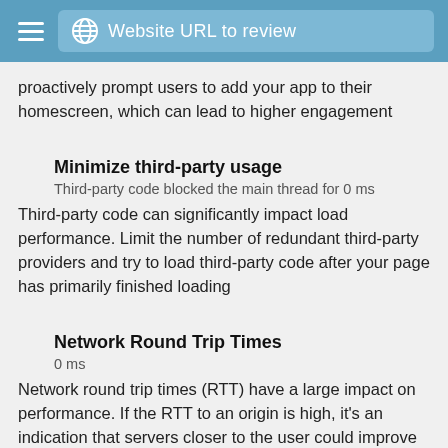Website URL to review
proactively prompt users to add your app to their homescreen, which can lead to higher engagement
Minimize third-party usage
Third-party code blocked the main thread for 0 ms
Third-party code can significantly impact load performance. Limit the number of redundant third-party providers and try to load third-party code after your page has primarily finished loading
Network Round Trip Times
0 ms
Network round trip times (RTT) have a large impact on performance. If the RTT to an origin is high, it's an indication that servers closer to the user could improve performance
Avoid long main-thread tasks
7 long tasks found
Lists the longest tasks on the main thread, useful for